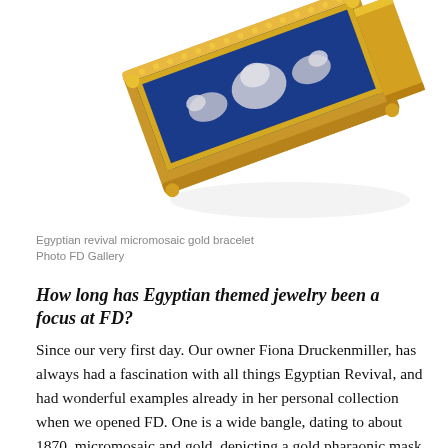[Figure (photo): Egyptian revival micromosaic gold bracelet, partially cropped from above, showing lapis blue enamel with gold detailing, tilted diagonally on white background]
Egyptian revival micromosaic gold bracelet
Photo FD Gallery
How long has Egyptian themed jewelry been a focus at FD?
Since our very first day. Our owner Fiona Druckenmiller, has always had a fascination with all things Egyptian Revival, and had wonderful examples already in her personal collection when we opened FD. One is a wide bangle, dating to about 1870, micromosaic and gold, depicting a gold pharaonic mask shouldered by a sphinx on each side on a lapis colored background, with the reverse set with alternating scarabs and ibises. It was this bracelet that first fueled her enthusiasm for